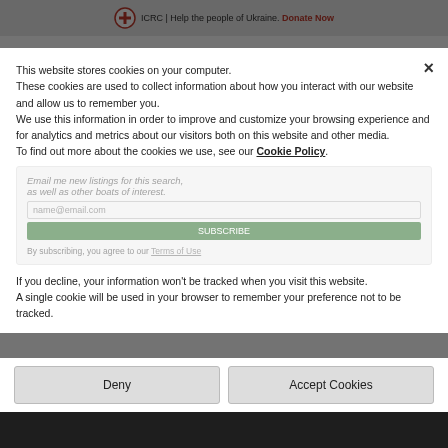[Figure (screenshot): Website screenshot of BoatsAndOutboards.com with ICRC donation banner at top, site logo, search bar, and partially visible content behind cookie consent overlay]
ICRC | Help the people of Ukraine. Donate Now
BOATSANDOUTBOARDS
Search boats & engines    Boats
This website stores cookies on your computer. These cookies are used to collect information about how you interact with our website and allow us to remember you. We use this information in order to improve and customize your browsing experience and for analytics and metrics about our visitors both on this website and other media. To find out more about the cookies we use, see our Cookie Policy.
If you decline, your information won't be tracked when you visit this website. A single cookie will be used in your browser to remember your preference not to be tracked.
Deny
Accept Cookies